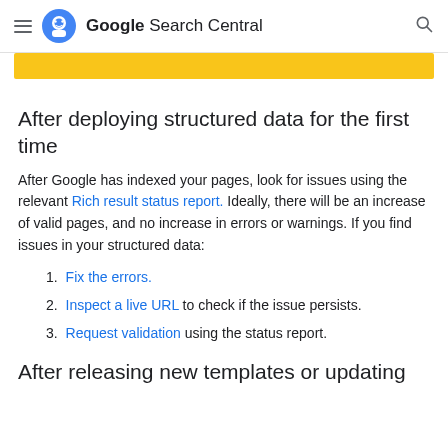Google Search Central
After deploying structured data for the first time
After Google has indexed your pages, look for issues using the relevant Rich result status report. Ideally, there will be an increase of valid pages, and no increase in errors or warnings. If you find issues in your structured data:
1. Fix the errors.
2. Inspect a live URL to check if the issue persists.
3. Request validation using the status report.
After releasing new templates or updating